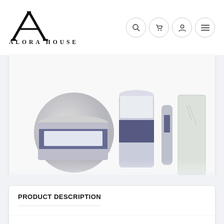ALORA HOUSE
[Figure (photo): Product gift set containing a tin candle, a tall cylindrical candle, a hand cream tube, and other packaged beauty products with blue and white/floral packaging]
PRODUCT DESCRIPTION
A nicely packaged gift set containing a Mini hand cream, Air light candle & our popular Moisturising soap. Give a gift that leaves a lasting impression.